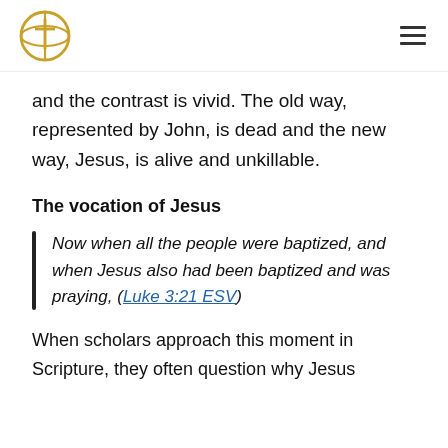[Logo and navigation]
and the contrast is vivid. The old way, represented by John, is dead and the new way, Jesus, is alive and unkillable.
The vocation of Jesus
Now when all the people were baptized, and when Jesus also had been baptized and was praying, (Luke 3:21 ESV)
When scholars approach this moment in Scripture, they often question why Jesus